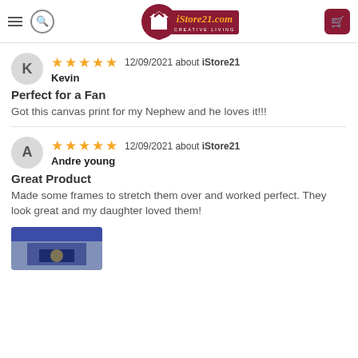iStore21.com — Creative Living (navigation header with logo, hamburger menu, search, and cart)
★★★★★ 12/09/2021 about iStore21
Kevin
Perfect for a Fan
Got this canvas print for my Nephew and he loves it!!!
★★★★★ 12/09/2021 about iStore21
Andre young
Great Product
Made some frames to stretch them over and worked perfect. They look great and my daughter loved them!
[Figure (photo): Partial photo preview of a product image at the bottom of the page]